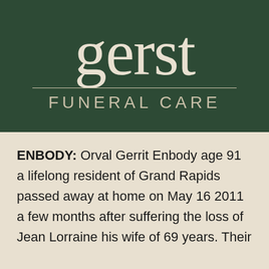[Figure (logo): Gerst Funeral Care logo: large serif 'gerst' text in cream on dark green background, with a horizontal rule and 'FUNERAL CARE' in spaced sans-serif capitals below]
ENBODY: Orval Gerrit Enbody age 91 a lifelong resident of Grand Rapids passed away at home on May 16 2011 a few months after suffering the loss of Jean Lorraine his wife of 69 years. Their